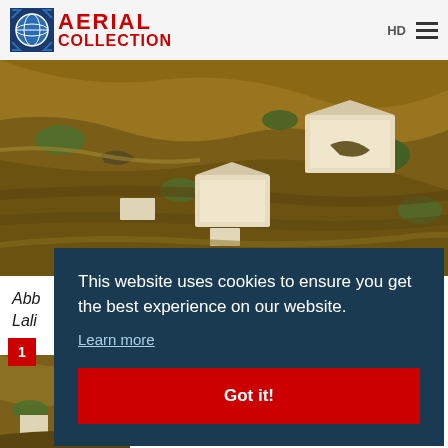AERIAL COLLECTION
[Figure (photo): Aerial photograph showing rocky hillside terrain with buildings and structures with white roofs, terraced land, and scattered trees viewed from above]
Abb... Lali...
[Figure (photo): Thumbnail aerial photograph showing similar terrain from above]
This website uses cookies to ensure you get the best experience on our website. Learn more Got it!